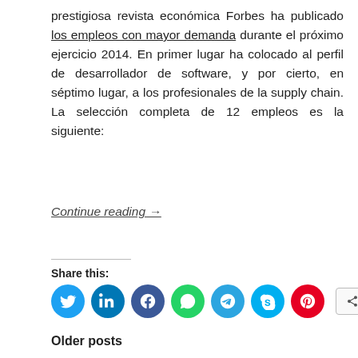prestigiosa revista económica Forbes ha publicado los empleos con mayor demanda durante el próximo ejercicio 2014. En primer lugar ha colocado al perfil de desarrollador de software, y por cierto, en séptimo lugar, a los profesionales de la supply chain. La selección completa de 12 empleos es la siguiente:
Continue reading →
Share this:
[Figure (infographic): Row of social share icon buttons: Twitter (blue), LinkedIn (dark blue), Facebook (dark blue), WhatsApp (green), Telegram (light blue), Skype (light blue), Pinterest (red), and a More button with share icon]
Older posts